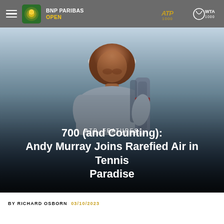BNP PARIBAS OPEN
[Figure (photo): Andy Murray, a male tennis player, looking to the side with a tennis bag on his back. Background is a blue sky gradient. Warm dramatic lighting.]
ATP, FEATURES
700 (and Counting): Andy Murray Joins Rarefied Air in Tennis Paradise
BY RICHARD OSBORN  03/10/2023